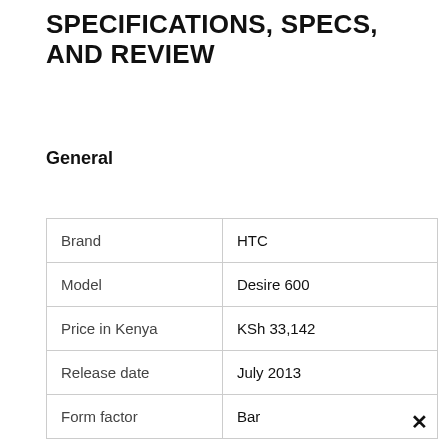SPECIFICATIONS, SPECS, AND REVIEW
General
| Brand | HTC |
| Model | Desire 600 |
| Price in Kenya | KSh 33,142 |
| Release date | July 2013 |
| Form factor | Bar |